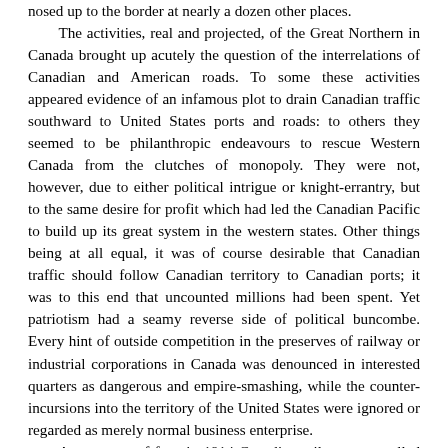nosed up to the border at nearly a dozen other places. The activities, real and projected, of the Great Northern in Canada brought up acutely the question of the interrelations of Canadian and American roads. To some these activities appeared evidence of an infamous plot to drain Canadian traffic southward to United States ports and roads: to others they seemed to be philanthropic endeavours to rescue Western Canada from the clutches of monopoly. They were not, however, due to either political intrigue or knight-errantry, but to the same desire for profit which had led the Canadian Pacific to build up its great system in the western states. Other things being at all equal, it was of course desirable that Canadian traffic should follow Canadian territory to Canadian ports; it was to this end that uncounted millions had been spent. Yet patriotism had a seamy reverse side of political buncombe. Every hint of outside competition in the preserves of railway or industrial corporations in Canada was denounced in interested quarters as dangerous and empire-smashing, while the counter-incursions into the territory of the United States were ignored or regarded as merely normal business enterprise. As a matter of fact, in 1914 Canadian railways controlled four miles in the United States for ever...